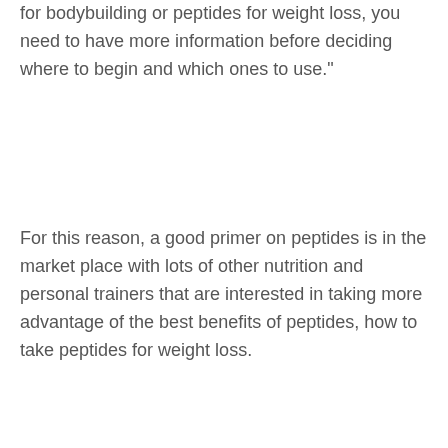for bodybuilding or peptides for weight loss, you need to have more information before deciding where to begin and which ones to use."
For this reason, a good primer on peptides is in the market place with lots of other nutrition and personal trainers that are interested in taking more advantage of the best benefits of peptides, how to take peptides for weight loss.
Here are some of these organizations and nutritionists that are interested in how to use peptides to improve your performance:
GynoResearch,
GynoSport,
Ginny,